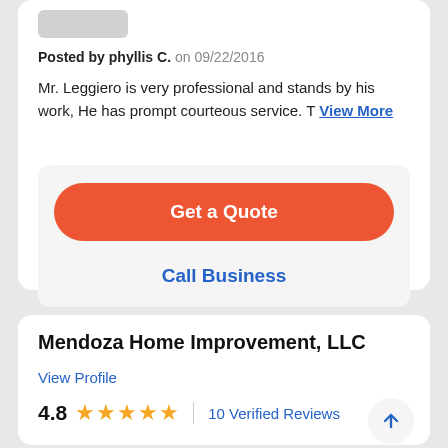Posted by phyllis C. on 09/22/2016
Mr. Leggiero is very professional and stands by his work, He has prompt courteous service. T View More
Get a Quote
Call Business
Mendoza Home Improvement, LLC
View Profile
4.8  ★★★★★  | 10 Verified Reviews
Elite Service  Warranties  Free Estimates